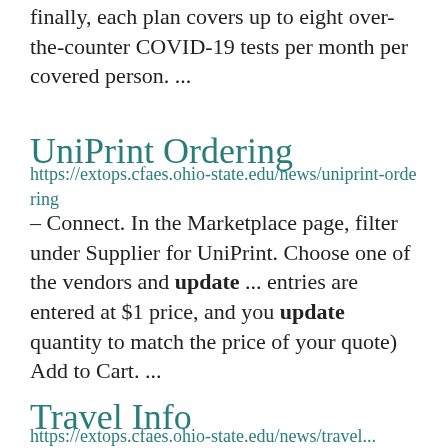...finally, each plan covers up to eight over-the-counter COVID-19 tests per month per covered person. ...
UniPrint Ordering
https://extops.cfaes.ohio-state.edu/news/uniprint-ordering
– Connect. In the Marketplace page, filter under Supplier for UniPrint. Choose one of the vendors and update ... entries are entered at $1 price, and you update quantity to match the price of your quote) Add to Cart. ...
Travel Info
https://extops.cfaes.ohio-state.edu/news/travel...